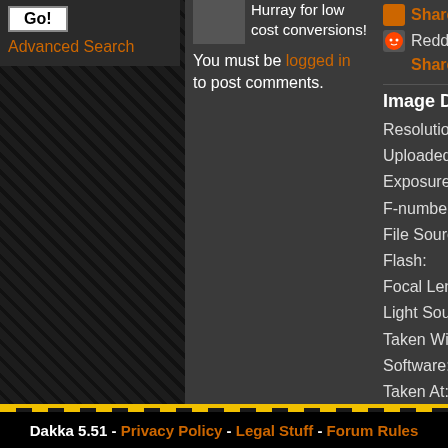Go!
Advanced Search
Hurray for low cost conversions!
You must be logged in to post comments.
Share o...
Reddit:
Share o...
Image Details
Resolution:
Uploaded:
Exposure Time:
F-number:
File Source:
Flash:
Focal Length:
Light Source:
Taken With:
Software:
Taken At:
Taken On:
Dakka 5.51 - Privacy Policy - Legal Stuff - Forum Rules